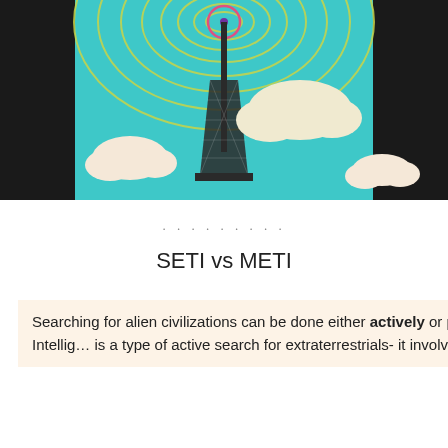[Figure (illustration): Illustration of a radio transmission tower on a teal/cyan sky background with white clouds and black side panels. The tower emits concentric circular signal waves in yellow-green colors from the top, with a pink/red circle at the apex and a purple dot in the center.]
. . . . . . . . .
SETI vs METI
Searching for alien civilizations can be done either actively or passively. METI (Messaging Extraterrestrial Intellig… is a type of active search for extraterrestrials- it involves